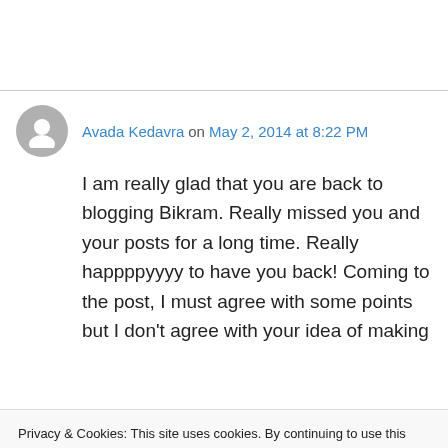Avada Kedavra on May 2, 2014 at 8:22 PM
I am really glad that you are back to blogging Bikram. Really missed you and your posts for a long time. Really happppyyyy to have you back! Coming to the post, I must agree with some points but I don't agree with your idea of making
Privacy & Cookies: This site uses cookies. By continuing to use this website, you agree to their use.
To find out more, including how to control cookies, see here: Cookie Policy
Close and accept
happy.